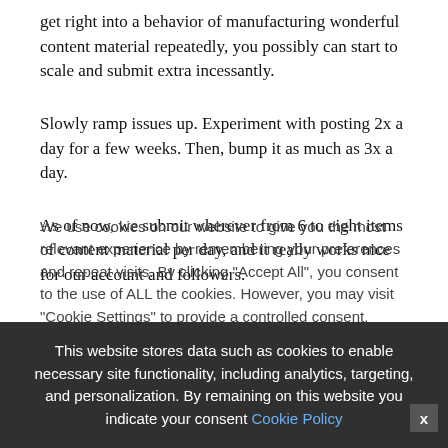get right into a behavior of manufacturing wonderful content material repeatedly, you possibly can start to scale and submit extra incessantly.
Slowly ramp issues up. Experiment with posting 2x a day for a few weeks. Then, bump it as much as 3x a day.
As of now, we submit wherever from 6 to eight items of content material per day, and it really works nice for our account and followers.
We use cookies on our website to give you the most relevant experience by remembering your preferences and repeat visits. By clicking “Accept All”, you consent to the use of ALL the cookies. However, you may visit “Cookie Settings” to provide a controlled consent.
This website stores data such as cookies to enable necessary site functionality, including analytics, targeting, and personalization. By remaining on this website you indicate your consent Cookie Policy